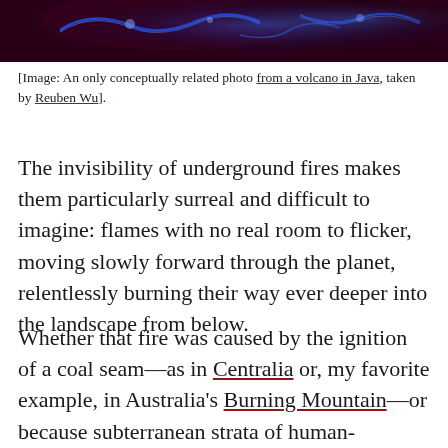[Figure (photo): Dark photograph showing blue glowing flames or volcanic light effects against a dark reddish-black background, from a volcano in Java]
[Image: An only conceptually related photo from a volcano in Java, taken by Reuben Wu].
The invisibility of underground fires makes them particularly surreal and difficult to imagine: flames with no real room to flicker, moving slowly forward through the planet, relentlessly burning their way ever deeper into the landscape from below.
Whether that fire was caused by the ignition of a coal seam—as in Centralia or, my favorite example, in Australia's Burning Mountain—or because subterranean strata of human-generated trash have caught fire, these